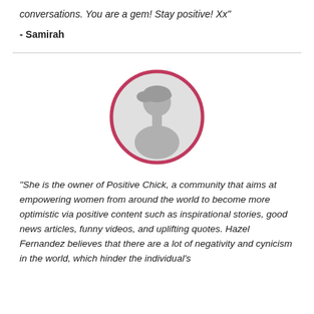conversations. You are a gem! Stay positive! Xx”
- Samirah
[Figure (illustration): Circular avatar placeholder illustration with a pink border and a grey female silhouette inside]
“She is the owner of Positive Chick, a community that aims at empowering women from around the world to become more optimistic via positive content such as inspirational stories, good news articles, funny videos, and uplifting quotes. Hazel Fernandez believes that there are a lot of negativity and cynicism in the world, which hinder the individual’s